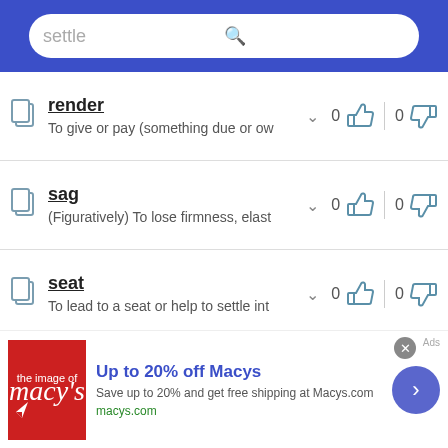settle
render — To give or pay (something due or ow...
sag — (Figuratively) To lose firmness, elast...
seat — To lead to a seat or help to settle int...
secure — To make certain; ensure:
set — To cause or assign (someone) to un...
[Figure (screenshot): Macy's advertisement banner: Up to 20% off Macys. Save up to 20% and get free shipping at Macys.com. macys.com]